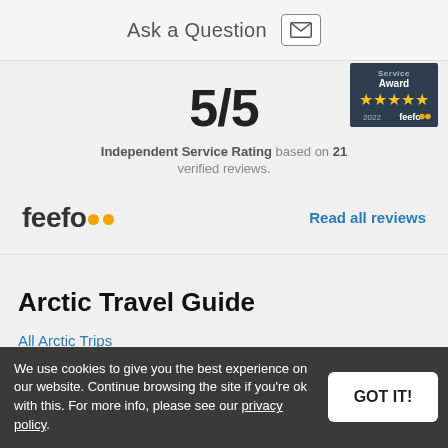Ask a Question
[Figure (logo): Feefo Service Award 2022 badge with 5 stars]
5/5
Independent Service Rating based on 21 verified reviews.
[Figure (logo): Feefo logo with two yellow dots]
Read all reviews
Arctic Travel Guide
All Arctic Trips
All Arctic Videos
We use cookies to give you the best experience on our website. Continue browsing the site if you're ok with this. For more info, please see our privacy policy.
GOT IT!